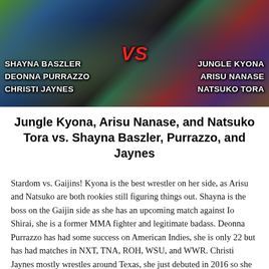[Figure (photo): Promotional wrestling photo showing six female wrestlers split into two teams. Left side: Shayna Baszler, Deonna Purrazzo, Christi Jaynes. Right side: Jungle Kyona, Arisu Nanase, Natsuko Tora. A red VS logo appears in the center.]
Jungle Kyona, Arisu Nanase, and Natsuko Tora vs. Shayna Baszler, Purrazzo, and Jaynes
Stardom vs. Gaijins! Kyona is the best wrestler on her side, as Arisu and Natsuko are both rookies still figuring things out. Shayna is the boss on the Gaijin side as she has an upcoming match against Io Shirai, she is a former MMA fighter and legitimate badass. Deonna Purrazzo has had some success on American Indies, she is only 22 but has had matches in NXT, TNA, ROH, WSU, and WWR. Christi Jaynes mostly wrestles around Texas, she just debuted in 2016 so she is on the similar experience level as Arisu and Natsuko.